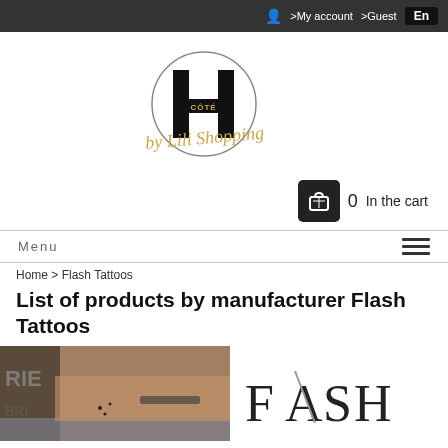>My account  >Guest  En
[Figure (logo): H CÔTÉ by Lili Shopping circular logo with script text]
[Figure (infographic): Shopping cart icon with count 0 and 'In the cart' label]
Menu
Home > Flash Tattoos
List of products by manufacturer Flash Tattoos
[Figure (photo): Photo of a person's torso showing flash tattoos on wrist and belly]
[Figure (logo): FLASH brand logo text in large serif/sans letters with diagonal stripe through A]